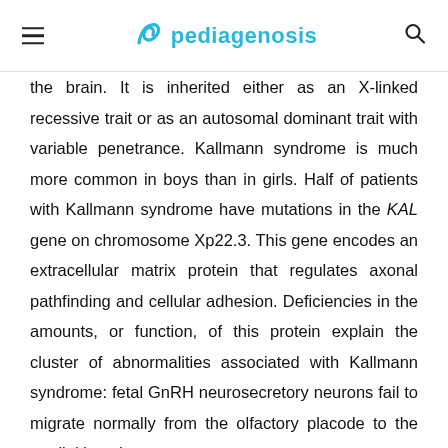pediagenosis
the brain. It is inherited either as an X-linked recessive trait or as an autosomal dominant trait with variable penetrance. Kallmann syndrome is much more common in boys than in girls. Half of patients with Kallmann syndrome have mutations in the KAL gene on chromosome Xp22.3. This gene encodes an extracellular matrix protein that regulates axonal pathfinding and cellular adhesion. Deficiencies in the amounts, or function, of this protein explain the cluster of abnormalities associated with Kallmann syndrome: fetal GnRH neurosecretory neurons fail to migrate normally from the olfactory placode to the medial basal